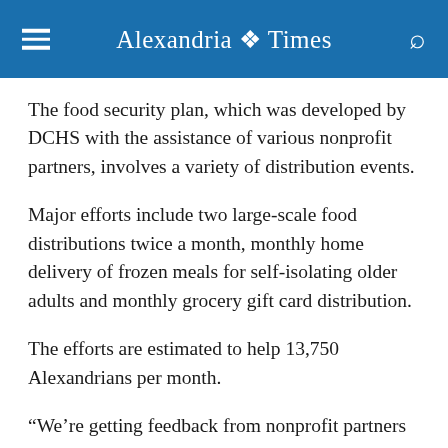Alexandria Times
The food security plan, which was developed by DCHS with the assistance of various nonprofit partners, involves a variety of distribution events.
Major efforts include two large-scale food distributions twice a month, monthly home delivery of frozen meals for self-isolating older adults and monthly grocery gift card distribution.
The efforts are estimated to help 13,750 Alexandrians per month.
“We’re getting feedback from nonprofit partners and others to build a dashboard map that … uses indicators that will help us identify the places where we should be focusing,” Kate